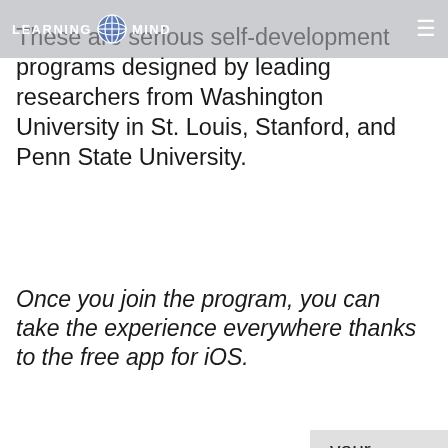LEARNING MIND [globe icon]
These are serious self-development programs designed by leading researchers from Washington University in St. Louis, Stanford, and Penn State University.
Once you join the program, you can take the experience everywhere thanks to the free app for iOS.
By continuing to use this website, you consent to the use of cookies in accordance with our Cookie Policy.
ACCEPT
your oment ng those